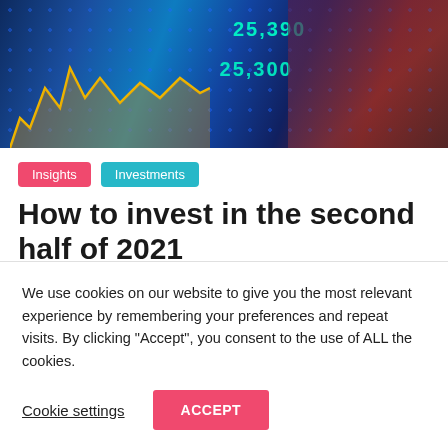[Figure (photo): Stock market display screens showing financial data, numbers, charts with blue and yellow tones, blurred retail store background]
Insights  Investments
How to invest in the second half of 2021
July 28, 2021  ExpatRoute  0 Comments  Investing,
We use cookies on our website to give you the most relevant experience by remembering your preferences and repeat visits. By clicking “Accept”, you consent to the use of ALL the cookies.
Cookie settings  ACCEPT